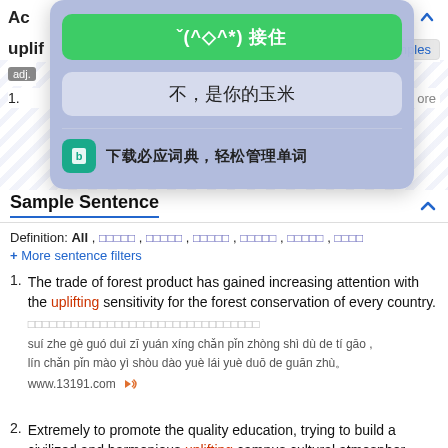Ac...
uplif...
[Figure (screenshot): Popup overlay with green button showing emoticon and Chinese text 接住, a second button 不，是你的玉米, and a dictionary download row 下载必应词典，轻松管理单词]
Sample Sentence
Definition: All , [Chinese chars] , [Chinese chars] , [Chinese chars] , [Chinese chars] , [Chinese chars] , [Chinese chars]
+ More sentence filters
1. The trade of forest product has gained increasing attention with the uplifting sensitivity for the forest conservation of every country.
[Chinese]
suí zhe gè guó duì zī yuán xíng chǎn pǐn zhòng shì dù de tí gāo , lín chǎn pǐn mào yì shòu dào yuè lái yuè duō de guān zhù。
www.13191.com
2. Extremely to promote the quality education, trying to build a civilized and harmonious uplifting campus cultural atmosphere